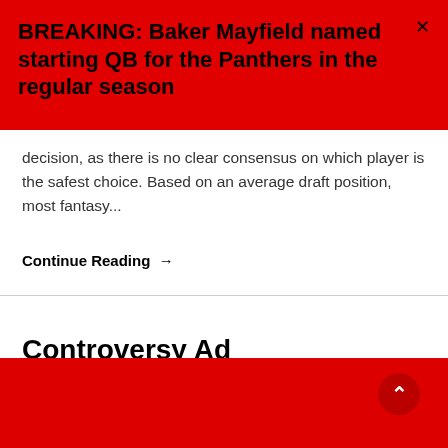BREAKING: Baker Mayfield named starting QB for the Panthers in the regular season
decision, as there is no clear consensus on which player is the safest choice. Based on an average draft position, most fantasy...
Continue Reading →
Controversy Ad